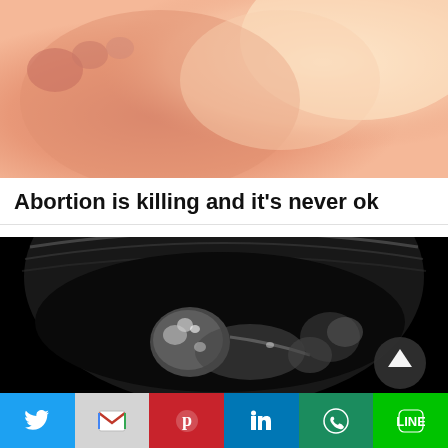[Figure (photo): Close-up photo of a newborn baby's feet and body, soft warm pink and peach tones, blurred background]
Abortion is killing and it's never ok
[Figure (photo): Ultrasound image of a fetus on black background, grayscale sonogram showing fetal profile and body]
Social share bar: Twitter, Gmail, Pinterest, LinkedIn, WhatsApp, Line